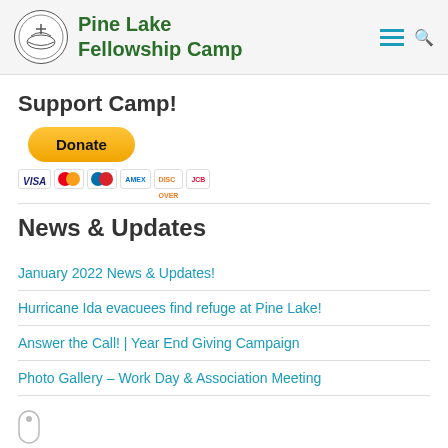Pine Lake Fellowship Camp
Support Camp!
[Figure (other): PayPal Donate button with payment card icons (Visa, Mastercard, Maestro, American Express, Discover, UnionPay)]
News & Updates
January 2022 News & Updates!
Hurricane Ida evacuees find refuge at Pine Lake!
Answer the Call! | Year End Giving Campaign
Photo Gallery – Work Day & Association Meeting